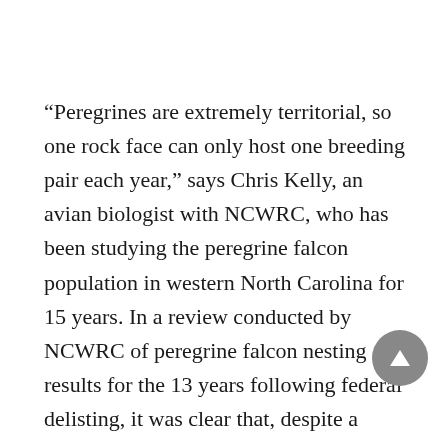“Peregrines are extremely territorial, so one rock face can only host one breeding pair each year,” says Chris Kelly, an avian biologist with NCWRC, who has been studying the peregrine falcon population in western North Carolina for 15 years. In a review conducted by NCWRC of peregrine falcon nesting results for the 13 years following federal delisting, it was clear that, despite a